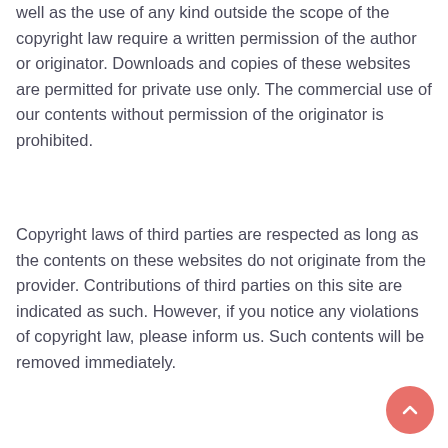well as the use of any kind outside the scope of the copyright law require a written permission of the author or originator. Downloads and copies of these websites are permitted for private use only. The commercial use of our contents without permission of the originator is prohibited.
Copyright laws of third parties are respected as long as the contents on these websites do not originate from the provider. Contributions of third parties on this site are indicated as such. However, if you notice any violations of copyright law, please inform us. Such contents will be removed immediately.